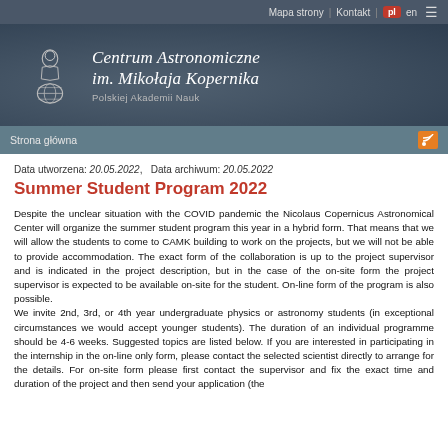Mapa strony | Kontakt | pl en ≡
[Figure (logo): Centrum Astronomiczne im. Mikołaja Kopernika, Polskiej Akademii Nauk logo with Copernicus figure and globe]
Strona główna
Data utworzena: 20.05.2022,   Data archiwum: 20.05.2022
Summer Student Program 2022
Despite the unclear situation with the COVID pandemic the Nicolaus Copernicus Astronomical Center will organize the summer student program this year in a hybrid form. That means that we will allow the students to come to CAMK building to work on the projects, but we will not be able to provide accommodation. The exact form of the collaboration is up to the project supervisor and is indicated in the project description, but in the case of the on-site form the project supervisor is expected to be available on-site for the student. On-line form of the program is also possible.
We invite 2nd, 3rd, or 4th year undergraduate physics or astronomy students (in exceptional circumstances we would accept younger students). The duration of an individual programme should be 4-6 weeks. Suggested topics are listed below. If you are interested in participating in the internship in the on-line only form, please contact the selected scientist directly to arrange for the details. For on-site form please first contact the supervisor and fix the exact time and duration of the project and then send your application (the